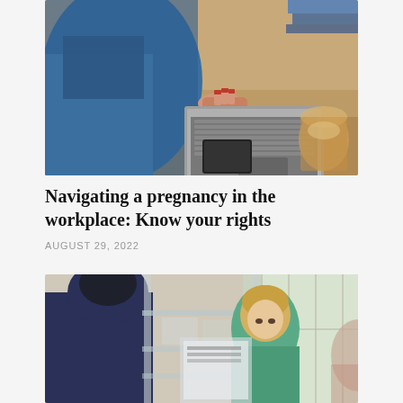[Figure (photo): Pregnant woman sitting on floor working on a laptop, with a phone and iced drink nearby on a wooden floor.]
Navigating a pregnancy in the workplace: Know your rights
AUGUST 29, 2022
[Figure (photo): Young boy in teal shirt looking at a tablet or screen, with an adult woman visible in the background in an indoor setting.]